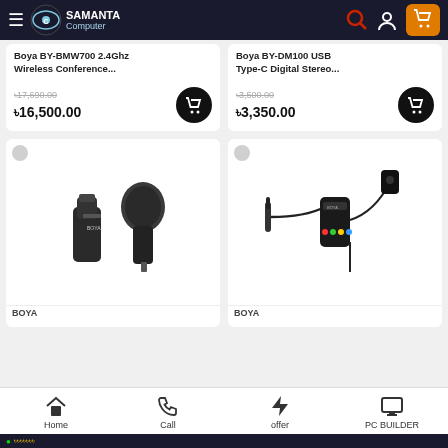Samanta Computer - navigation bar with logo, search, user, and cart icons
Boya BY-BMW700 2.4Ghz Wireless Conference...
Old price: ৳17,690.00  New price: ৳16,500.00
Boya BY-DM100 USB Type-C Digital Stereo...
Old price: ৳3,500.00  New price: ৳3,350.00
[Figure (photo): BOYA microphone product - two wireless mics with windscreen]
BOYA
[Figure (photo): BOYA lavalier microphone with 3.5mm cable and clip-on mic]
BOYA
Home | Call | offer | PC BUILDER